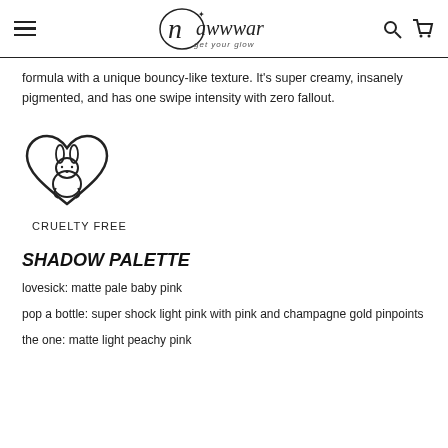Nawwwar - get your glow
formula with a unique bouncy-like texture. It's super creamy, insanely pigmented, and has one swipe intensity with zero fallout.
[Figure (illustration): Cruelty free bunny in a heart icon with label CRUELTY FREE]
SHADOW PALETTE
lovesick: matte pale baby pink
pop a bottle: super shock light pink with pink and champagne gold pinpoints
the one: matte light peachy pink